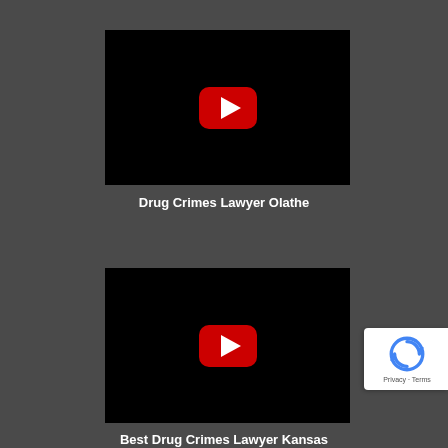[Figure (screenshot): YouTube video thumbnail with black background and red YouTube play button icon]
Drug Crimes Lawyer Olathe
[Figure (screenshot): YouTube video thumbnail with black background and red YouTube play button icon]
Best Drug Crimes Lawyer Kansas